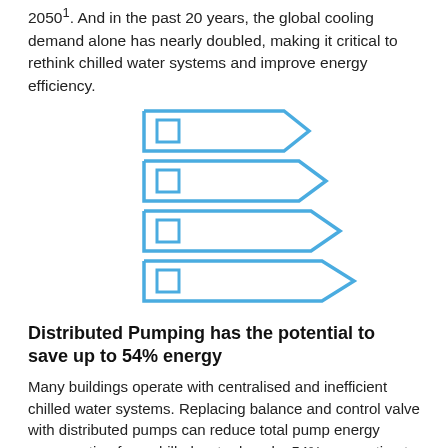2050¹. And in the past 20 years, the global cooling demand alone has nearly doubled, making it critical to rethink chilled water systems and improve energy efficiency.
[Figure (infographic): Four stacked arrow/chevron shapes in blue outline, each successively wider, resembling an energy rating label diagram. Each arrow has a small square icon on the left side.]
Distributed Pumping has the potential to save up to 54% energy
Many buildings operate with centralised and inefficient chilled water systems. Replacing balance and control valve with distributed pumps can reduce total pump energy consumption for a chilled water loop by 54%, amounting to